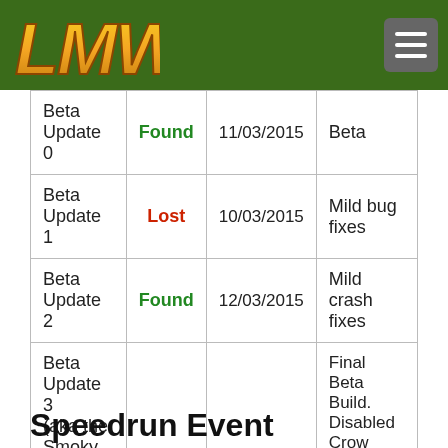LMW logo and navigation
| Version | Status | Date | Notes |
| --- | --- | --- | --- |
| Beta Update 0 | Found | 11/03/2015 | Beta |
| Beta Update 1 | Lost | 10/03/2015 | Mild bug fixes |
| Beta Update 2 | Found | 12/03/2015 | Mild crash fixes |
| Beta Update 3 (aka the Smoky Build) | Found | 30/03/2015 | Final Beta Build. Disabled Crow jump attacks, changed some graphics, and had many backend changes. |
Speedrun Event